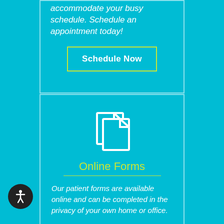accommodate your busy schedule. Schedule an appointment today!
Schedule Now
[Figure (illustration): Two overlapping document/file pages icon in white outline style]
Online Forms
Our patient forms are available online and can be completed in the privacy of your own home or office.